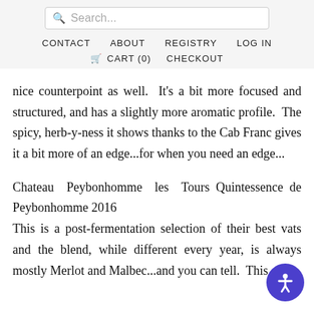Search... | CONTACT  ABOUT  REGISTRY  LOG IN | CART (0)  CHECKOUT
nice counterpoint as well.  It's a bit more focused and structured, and has a slightly more aromatic profile.  The spicy, herb-y-ness it shows thanks to the Cab Franc gives it a bit more of an edge...for when you need an edge...
Chateau Peybonhomme les Tours Quintessence de Peybonhomme 2016 This is a post-fermentation selection of their best vats and the blend, while different every year, is always mostly Merlot and Malbec...and you can tell.  This